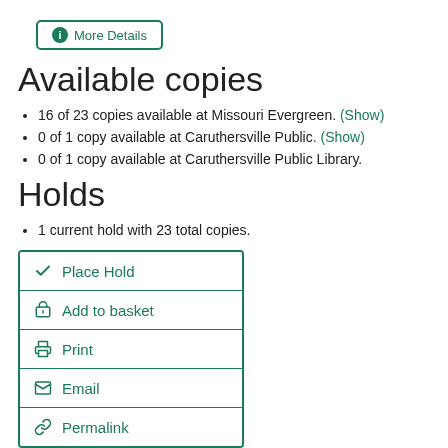More Details
Available copies
16 of 23 copies available at Missouri Evergreen. (Show)
0 of 1 copy available at Caruthersville Public. (Show)
0 of 1 copy available at Caruthersville Public Library.
Holds
1 current hold with 23 total copies.
Place Hold
Add to basket
Print
Email
Permalink